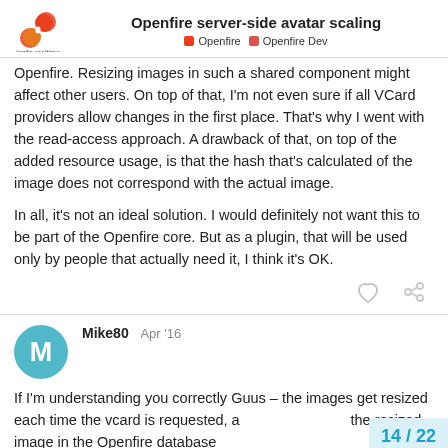Openfire server-side avatar scaling | Openfire | Openfire Dev
Openfire. Resizing images in such a shared component might affect other users. On top of that, I'm not even sure if all VCard providers allow changes in the first place. That's why I went with the read-access approach. A drawback of that, on top of the added resource usage, is that the hash that's calculated of the image does not correspond with the actual image.
In all, it's not an ideal solution. I would definitely not want this to be part of the Openfire core. But as a plugin, that will be used only by people that actually need it, I think it's OK.
Mike80  Apr '16
If I'm understanding you correctly Guus – the images get resized each time the vcard is requested, and you're not storing the resized image in the Openfire database, so you always start from the original image on every request?
14 / 22